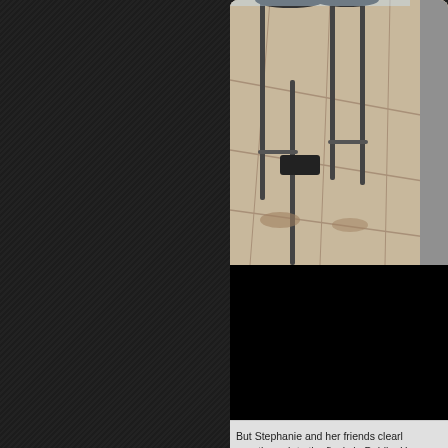[Figure (photo): Photo of bar stools and tiled floor, partial view of a person in grey clothing on the right edge]
[Figure (photo): Black/dark photo panel below the bar stool image]
But Stephanie and her friends clearly now through to the finals in Dublin. H very best of luck in May!